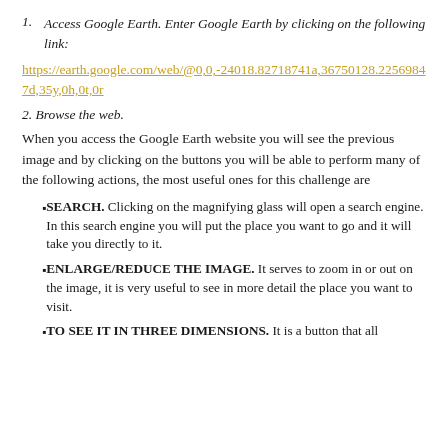1. Access Google Earth. Enter Google Earth by clicking on the following link:
https://earth.google.com/web/@0,0,-24018.82718741a,36750128.22569847d,35y,0h,0t,0r
2. Browse the web.
When you access the Google Earth website you will see the previous image and by clicking on the buttons you will be able to perform many of the following actions, the most useful ones for this challenge are
SEARCH. Clicking on the magnifying glass will open a search engine. In this search engine you will put the place you want to go and it will take you directly to it.
ENLARGE/REDUCE THE IMAGE. It serves to zoom in or out on the image, it is very useful to see in more detail the place you want to visit.
TO SEE IT IN THREE DIMENSIONS. It is a button that allows...